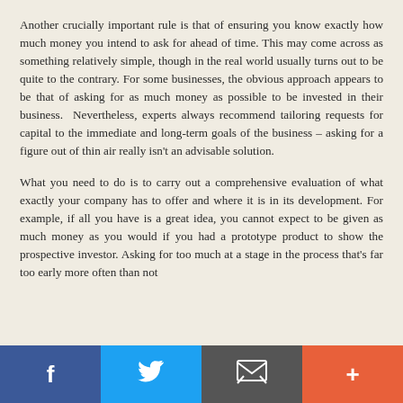Another crucially important rule is that of ensuring you know exactly how much money you intend to ask for ahead of time. This may come across as something relatively simple, though in the real world usually turns out to be quite to the contrary. For some businesses, the obvious approach appears to be that of asking for as much money as possible to be invested in their business.  Nevertheless, experts always recommend tailoring requests for capital to the immediate and long-term goals of the business – asking for a figure out of thin air really isn't an advisable solution.
What you need to do is to carry out a comprehensive evaluation of what exactly your company has to offer and where it is in its development. For example, if all you have is a great idea, you cannot expect to be given as much money as you would if you had a prototype product to show the prospective investor. Asking for too much at a stage in the process that's far too early more often than not
Facebook | Twitter | Email | +